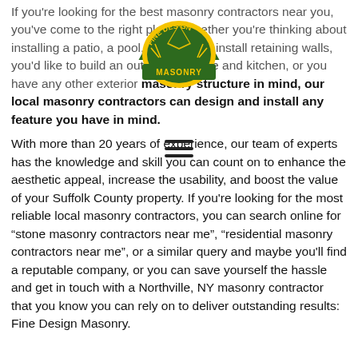[Figure (logo): Fine Design Masonry logo - circular emblem with green and gold colors, showing a masonry trowel and the text 'FINE DESIGN' on top arc and 'MASONRY' on bottom]
If you're looking for the best masonry contractors near you, you've come to the right place. Whether you're thinking about installing a patio, a pool, you need to install retaining walls, you'd like to build an outdoor fireplace and kitchen, or you have any other exterior masonry structure in mind, our local masonry contractors can design and install any feature you have in mind.
With more than 20 years of experience, our team of experts has the knowledge and skill you can count on to enhance the aesthetic appeal, increase the usability, and boost the value of your Suffolk County property. If you're looking for the most reliable local masonry contractors, you can search online for “stone masonry contractors near me”, “residential masonry contractors near me”, or a similar query and maybe you'll find a reputable company, or you can save yourself the hassle and get in touch with a Northville, NY masonry contractor that you know you can rely on to deliver outstanding results: Fine Design Masonry.